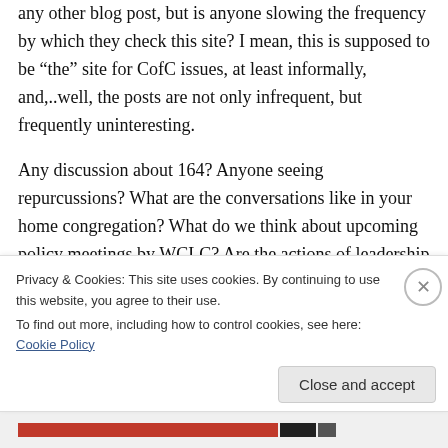any other blog post, but is anyone slowing the frequency by which they check this site? I mean, this is supposed to be “the” site for CofC issues, at least informally, and,..well, the posts are not only infrequent, but frequently uninteresting.

Any discussion about 164? Anyone seeing repurcussions? What are the conversations like in your home congregation? What do we think about upcoming policy meetings by WCLC? Are the actions of leadership with respect to the
Privacy & Cookies: This site uses cookies. By continuing to use this website, you agree to their use.
To find out more, including how to control cookies, see here: Cookie Policy